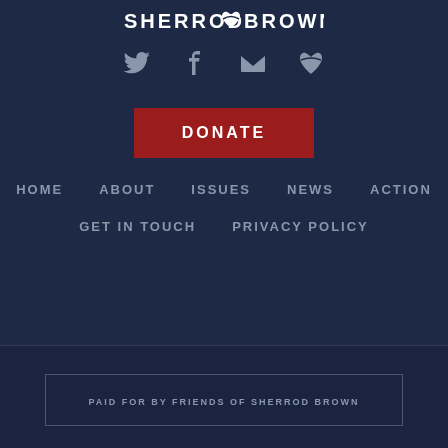SHERROD BROWN
[Figure (logo): Sherrod Brown campaign logo with Ohio state outline/heart icon between the words SHERROD and BROWN]
[Figure (illustration): Social media icons: Twitter bird, Facebook f, envelope/email, Ohio heart shape]
DONATE
HOME
ABOUT
ISSUES
NEWS
ACTION
GET IN TOUCH
PRIVACY POLICY
PAID FOR BY FRIENDS OF SHERROD BROWN